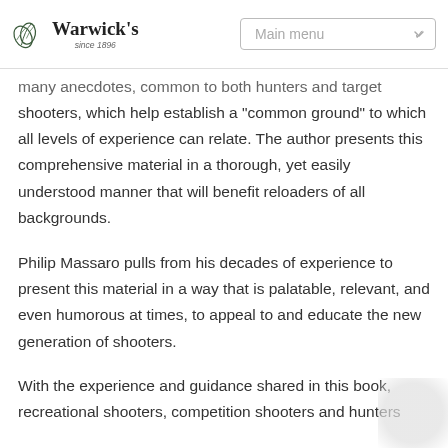Warwick's since 1896 | Main menu
many anecdotes, common to both hunters and target shooters, which help establish a "common ground" to which all levels of experience can relate. The author presents this comprehensive material in a thorough, yet easily understood manner that will benefit reloaders of all backgrounds.
Philip Massaro pulls from his decades of experience to present this material in a way that is palatable, relevant, and even humorous at times, to appeal to and educate the new generation of shooters.
With the experience and guidance shared in this book, recreational shooters, competition shooters and hunters